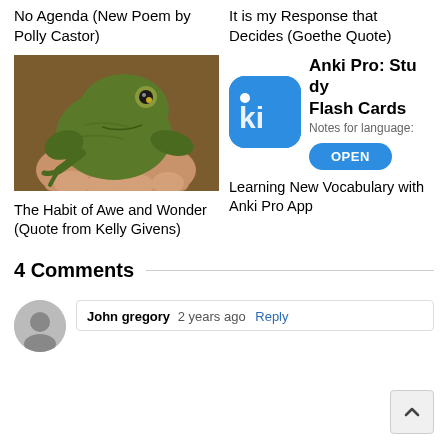No Agenda (New Poem by Polly Castor)
It is my Response that Decides (Goethe Quote)
[Figure (photo): A small green frog held in a person's hand, viewed from the side. The frog has prominent eyes and green-brown coloring.]
The Habit of Awe and Wonder (Quote from Kelly Givens)
[Figure (screenshot): Anki Pro app advertisement with blue icon showing 'ki' text. Title: Anki Pro: Study Flash Cards. Subtitle: Notes for language. Button: OPEN]
Learning New Vocabulary with Anki Pro App
4 Comments
John gregory 2 years ago Reply